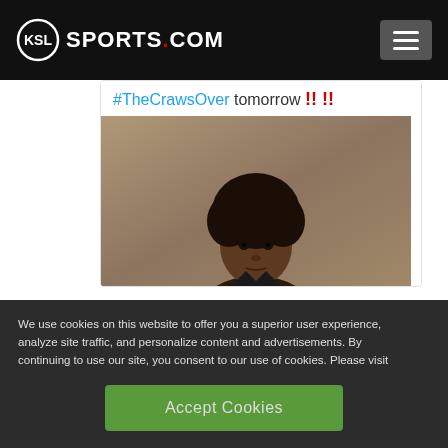KSL SPORTS.COM
[Figure (screenshot): Social media post showing text '#TheCrawsOver tomorrow !! !!' with a photo of a young Black man with an afro looking at the camera against a taupe background]
We use cookies on this website to offer you a superior user experience, analyze site traffic, and personalize content and advertisements. By continuing to use our site, you consent to our use of cookies. Please visit our Privacy Policy for more information.
Accept Cookies